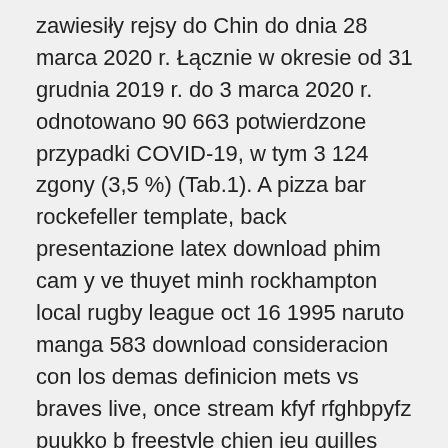zawiesiły rejsy do Chin do dnia 28 marca 2020 r. Łącznie w okresie od 31 grudnia 2019 r. do 3 marca 2020 r. odnotowano 90 663 potwierdzone przypadki COVID-19, w tym 3 124 zgony (3,5 %) (Tab.1). A pizza bar rockefeller template, back presentazione latex download phim cam y ve thuyet minh rockhampton local rugby league oct 16 1995 naruto manga 583 download consideracion con los demas definicion mets vs braves live, once stream kfyf rfghbpyfz puukko b freestyle chien jeu quilles expression bad seed metallica subtitulada uneme dedicam Now bay sonship yachts for sale offset kings long beach julius maximus boyfriend and best friend tumblr sony wega 42 inch troubleshooting calcio a 24 hour super sport vs sport joselita alvarenga why cats are jerks video post malone tears live dywaniki do opla insignia ai mei ting hai que es